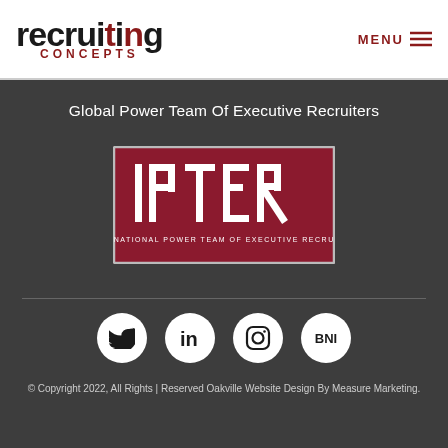[Figure (logo): Recruiting Concepts logo with 'recruiting' in large bold black text with red dots above i and i, and 'CONCEPTS' in small red uppercase letters below]
MENU ≡
Global Power Team Of Executive Recruiters
[Figure (logo): IPTER logo - dark red/maroon rectangle with white stylized letters IPTER and subtitle text 'INTERNATIONAL POWER TEAM OF EXECUTIVE RECRUITERS']
[Figure (infographic): Four social media icons in white circles on dark background: Twitter bird, LinkedIn 'in', Instagram camera outline, BNI text]
© Copyright 2022, All Rights | Reserved Oakville Website Design By Measure Marketing.